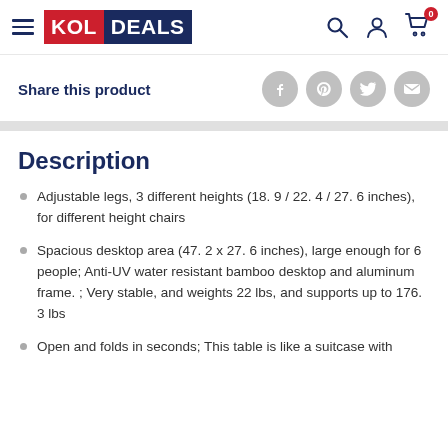KOLDEALS — navigation header with hamburger menu, logo, search, account, and cart icons
Share this product
Description
Adjustable legs, 3 different heights (18. 9 / 22. 4 / 27. 6 inches), for different height chairs
Spacious desktop area (47. 2 x 27. 6 inches), large enough for 6 people; Anti-UV water resistant bamboo desktop and aluminum frame. ; Very stable, and weights 22 lbs, and supports up to 176. 3 lbs
Open and folds in seconds; This table is like a suitcase with